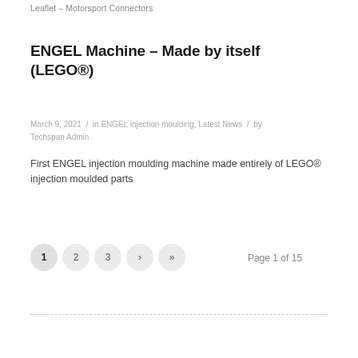Leaflet – Motorsport Connectors
ENGEL Machine – Made by itself (LEGO®)
March 9, 2021 / in ENGEL injection moulding, Latest News / by Techspan Admin
First ENGEL injection moulding machine made entirely of LEGO® injection moulded parts
1 2 3 › » Page 1 of 15